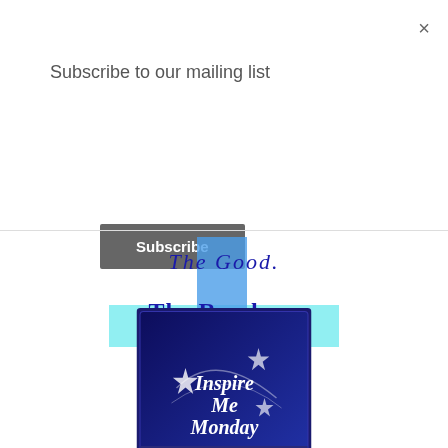×
Subscribe to our mailing list
Subscribe
[Figure (logo): Blog logo for goodrandomfun.blogspot.com featuring a blue cross shape with text: The Good. The Random. The Fun. with website URL goodrandomfun.blogspot.com]
[Figure (logo): Inspire Me Monday badge from Create With Joy blog, featuring stars on a dark blue background]